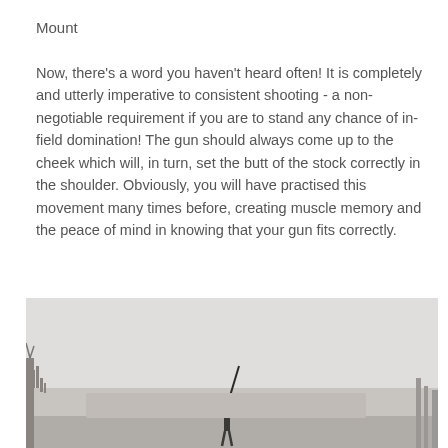Mount
Now, there's a word you haven't heard often! It is completely and utterly imperative to consistent shooting - a non-negotiable requirement if you are to stand any chance of in-field domination! The gun should always come up to the cheek which will, in turn, set the butt of the stock correctly in the shoulder. Obviously, you will have practised this movement many times before, creating muscle memory and the peace of mind in knowing that your gun fits correctly.
[Figure (photo): A person standing in a misty outdoor field raising a shotgun upward toward the sky, with bare trees visible in the background.]